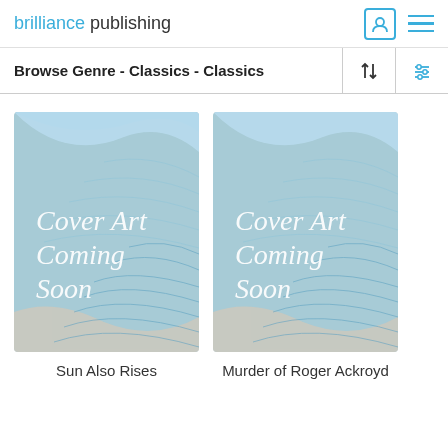brilliance publishing
Browse Genre - Classics - Classics
[Figure (illustration): Book cover placeholder with blue wavy abstract design and text 'Cover Art Coming Soon']
[Figure (illustration): Book cover placeholder with blue wavy abstract design and text 'Cover Art Coming Soon']
Sun Also Rises
Murder of Roger Ackroyd